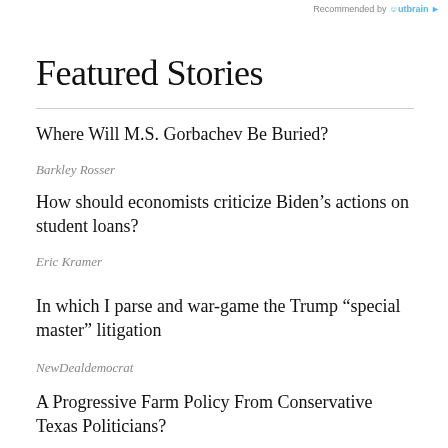Recommended by Outbrain
Featured Stories
Where Will M.S. Gorbachev Be Buried?
Barkley Rosser
How should economists criticize Biden’s actions on student loans?
Eric Kramer
In which I parse and war-game the Trump “special master” litigation
NewDealdemocrat
A Progressive Farm Policy From Conservative Texas Politicians?